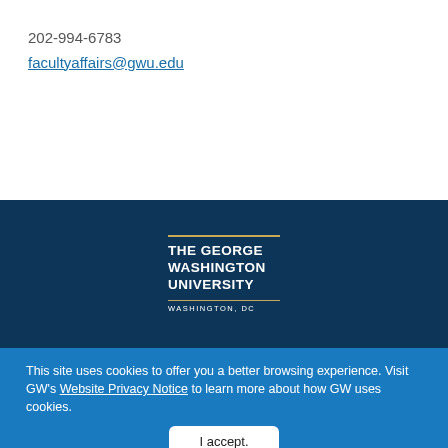202-994-6783
facultyaffairs@gwu.edu
[Figure (logo): The George Washington University logo with gold lines and 'Washington, DC' text on dark navy background]
This site uses cookies to offer you a better browsing experience. Visit GW's Website Privacy Notice to learn more about how GW uses cookies.
I accept.